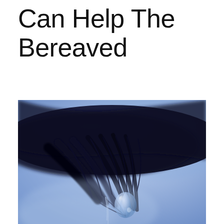Can Help The Bereaved
[Figure (photo): Close-up macro photograph of a human eye with long dark eyelashes, with a single large teardrop hanging from the lashes, set against a soft blue background. The image has a melancholic, emotional tone with blue and dark tones.]